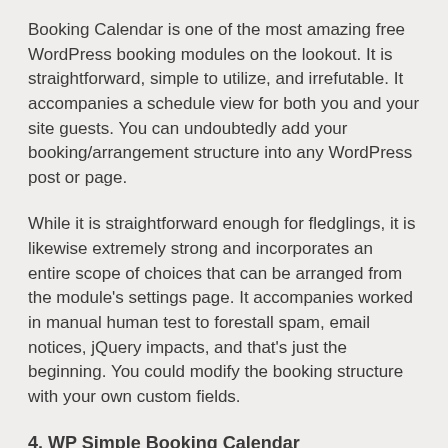Booking Calendar is one of the most amazing free WordPress booking modules on the lookout. It is straightforward, simple to utilize, and irrefutable. It accompanies a schedule view for both you and your site guests. You can undoubtedly add your booking/arrangement structure into any WordPress post or page.
While it is straightforward enough for fledglings, it is likewise extremely strong and incorporates an entire scope of choices that can be arranged from the module's settings page. It accompanies worked in manual human test to forestall spam, email notices, jQuery impacts, and that's just the beginning. You could modify the booking structure with your own custom fields.
4. WP Simple Booking Calendar